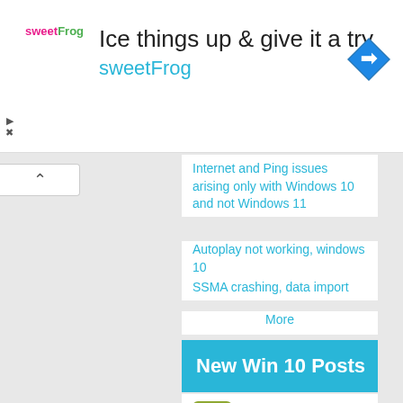[Figure (screenshot): Advertisement banner for sweetFrog frozen yogurt: logo on left, headline 'Ice things up & give it a try', subtext 'sweetFrog' in blue, blue diamond navigation icon on right]
Internet and Ping issues arising only with Windows 10 and not Windows 11
Autoplay not working, windows 10
SSMA crashing, data import
More
New Win 10 Posts
bitlocker
Barry Cribb replied 8 minutes ago
Need to turn off Bitlocker to install Windows 10
Hi,
We suggest doing the following